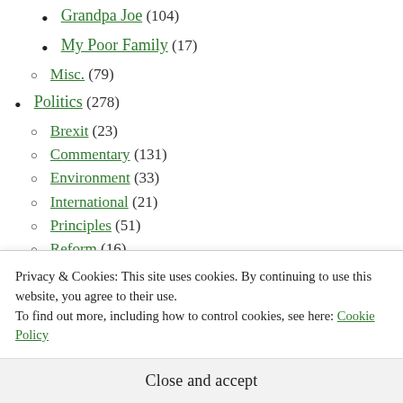Grandpa Joe (104)
My Poor Family (17)
Misc. (79)
Politics (278)
Brexit (23)
Commentary (131)
Environment (33)
International (21)
Principles (51)
Reform (16)
Quizzes (21)
Social Media (8)
Privacy & Cookies: This site uses cookies. By continuing to use this website, you agree to their use. To find out more, including how to control cookies, see here: Cookie Policy
Close and accept